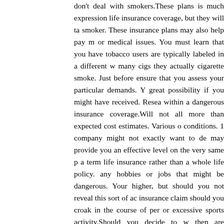don't deal with smokers.These plans is much expression life insurance coverage, but they will ta smoker. These insurance plans may also help pay m or medical issues. You must learn that you have tobacco users are typically labeled in a different w many cigs they actually cigarette smoke. Just before ensure that you assess your particular demands. Y great possibility if you might have received. Resea within a dangerous insurance coverage.Will not all more than expected cost estimates. Various o conditions. 1 company might not exactly want to de may provide you an effective level on the very same p a term life insurance rather than a whole life policy. any hobbies or jobs that might be dangerous. Your higher, but should you not reveal this sort of ac insurance claim should you croak in the course of per or excessive sports activity.Should you decide to w then are injured, you will subjected to tough penalti dozens of various companies that provide life insuran alternatively take some time needed to totally study got a sound monetary background? Do they ha inexpensive policy that offers all you no good sho unreliable business. Get just the quantity of insuranc get excessive insurance coverage or little of this. It time to figure out simply how much money you will ne as look after your loved ones, but understanding for you will need can help you prevent several proble